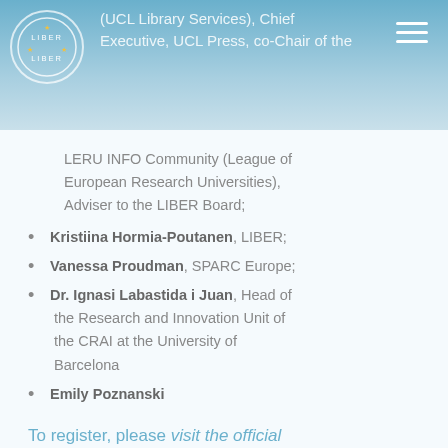(UCL Library Services), Chief Executive, UCL Press, co-Chair of the
LERU INFO Community (League of European Research Universities), Adviser to the LIBER Board;
Kristiina Hormia-Poutanen, LIBER;
Vanessa Proudman, SPARC Europe;
Dr. Ignasi Labastida i Juan, Head of the Research and Innovation Unit of the CRAI at the University of Barcelona
Emily Poznanski
To register, please visit the official event page.